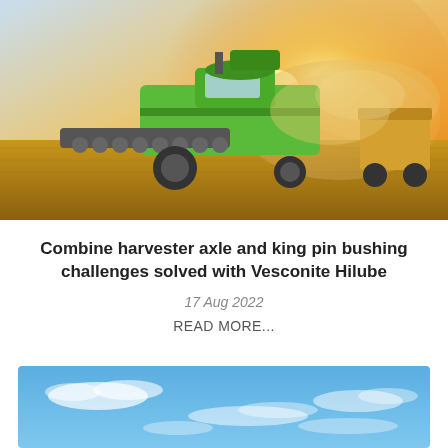[Figure (photo): A green combine harvester working in a golden wheat field at sunset, with dust rising and a grain cart visible on the right.]
Combine harvester axle and king pin bushing challenges solved with Vesconite Hilube
17 Aug 2022
READ MORE...
[Figure (photo): A blue sky with white clouds, partial view at the bottom of the page.]